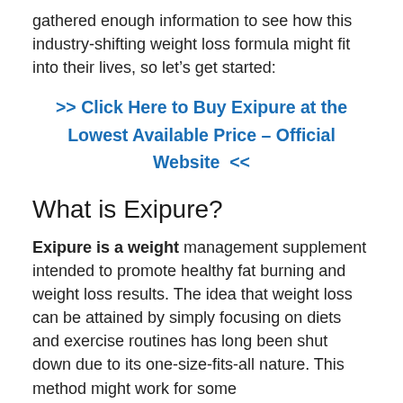gathered enough information to see how this industry-shifting weight loss formula might fit into their lives, so let's get started:
>> Click Here to Buy Exipure at the Lowest Available Price – Official Website  <<
What is Exipure?
Exipure is a weight management supplement intended to promote healthy fat burning and weight loss results. The idea that weight loss can be attained by simply focusing on diets and exercise routines has long been shut down due to its one-size-fits-all nature. This method might work for some people, but to many, the idea is unlikely to